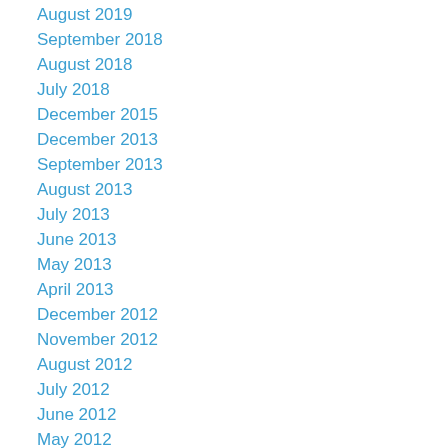August 2019
September 2018
August 2018
July 2018
December 2015
December 2013
September 2013
August 2013
July 2013
June 2013
May 2013
April 2013
December 2012
November 2012
August 2012
July 2012
June 2012
May 2012
April 2012